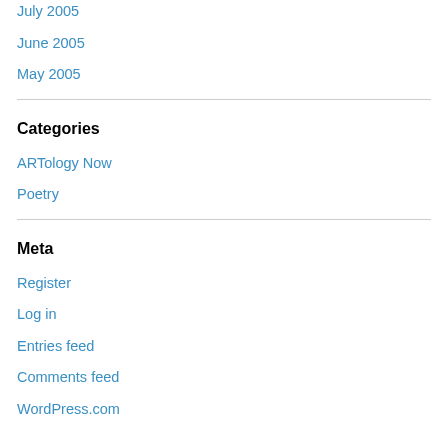July 2005
June 2005
May 2005
Categories
ARTology Now
Poetry
Meta
Register
Log in
Entries feed
Comments feed
WordPress.com